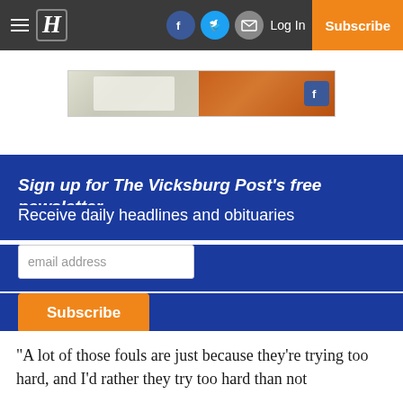≡ H   [facebook] [twitter] [mail]   Log In   Subscribe
[Figure (photo): Advertisement banner showing food images with a Facebook icon on the right side]
Sign up for The Vicksburg Post's free newsletter
Receive daily headlines and obituaries
email address
Subscribe
“A lot of those fouls are just because they’re trying too hard, and I’d rather they try too hard than not